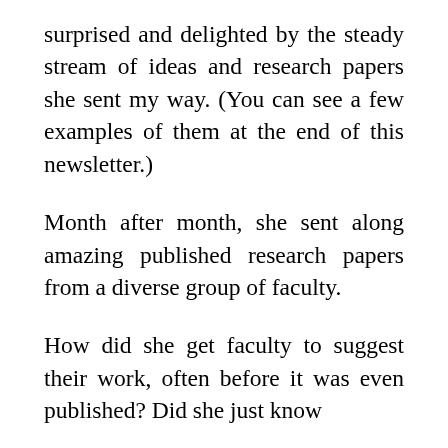surprised and delighted by the steady stream of ideas and research papers she sent my way. (You can see a few examples of them at the end of this newsletter.)
Month after month, she sent along amazing published research papers from a diverse group of faculty.
How did she get faculty to suggest their work, often before it was even published? Did she just know